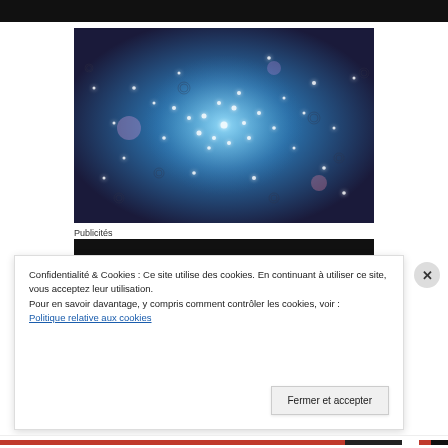[Figure (photo): Abstract cosmic image with glowing blue and white orbs/particles on a dark blue background, resembling a star cluster or scientific visualization.]
Publicités
[Figure (other): Black advertisement box placeholder.]
Confidentialité & Cookies : Ce site utilise des cookies. En continuant à utiliser ce site, vous acceptez leur utilisation.
Pour en savoir davantage, y compris comment contrôler les cookies, voir :
Politique relative aux cookies
Fermer et accepter